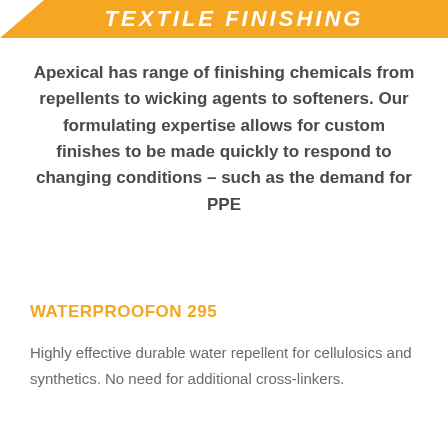TEXTILE FINISHING
Apexical has range of finishing chemicals from repellents to wicking agents to softeners. Our formulating expertise allows for custom finishes to be made quickly to respond to changing conditions – such as the demand for PPE
WATERPROOFON 295
Highly effective durable water repellent for cellulosics and synthetics. No need for additional cross-linkers.